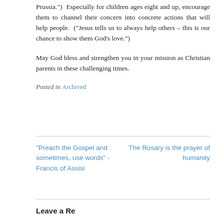Prussia.")  Especially for children ages eight and up, encourage them to channel their concern into concrete actions that will help people.  ("Jesus tells us to always help others – this is our chance to show them God's love.")
May God bless and strengthen you in your mission as Christian parents in these challenging times.
Posted in Archived
“Preach the Gospel and sometimes, use words” - Francis of Assisi
The Rosary is the prayer of humanity
Leave a Reply